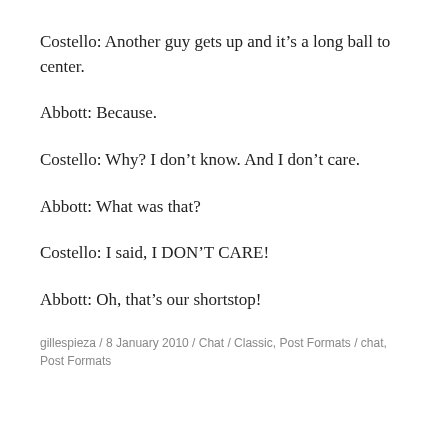Costello: Another guy gets up and it’s a long ball to center.
Abbott: Because.
Costello: Why? I don’t know. And I don’t care.
Abbott: What was that?
Costello: I said, I DON’T CARE!
Abbott: Oh, that’s our shortstop!
gillespieza / 8 January 2010 / Chat / Classic, Post Formats / chat, Post Formats